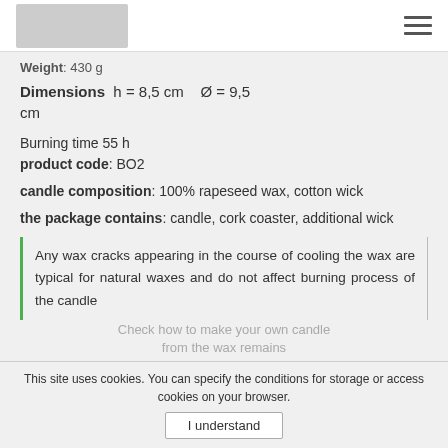[logo] [hamburger menu]
Weight: 430 g
Dimensions  h = 8,5 cm   Ø = 9,5 cm
Burning time 55 h
product code: BO2
candle composition: 100% rapeseed wax, cotton wick
the package contains: candle, cork coaster, additional wick
Any wax cracks appearing in the course of cooling the wax are typical for natural waxes and do not affect burning process of the candle
This site uses cookies. You can specify the conditions for storage or access cookies on your browser.
I understand